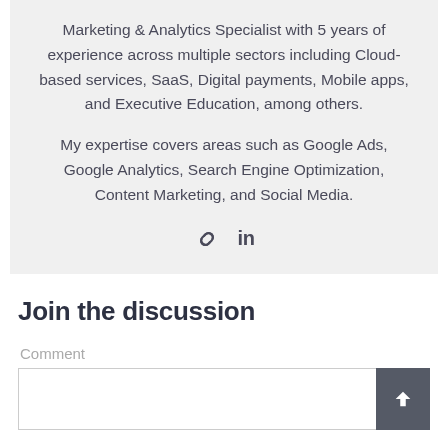Marketing & Analytics Specialist with 5 years of experience across multiple sectors including Cloud-based services, SaaS, Digital payments, Mobile apps, and Executive Education, among others.
My expertise covers areas such as Google Ads, Google Analytics, Search Engine Optimization, Content Marketing, and Social Media.
[Figure (infographic): Two social/link icons: a link/chain icon and a LinkedIn 'in' icon]
Join the discussion
Comment